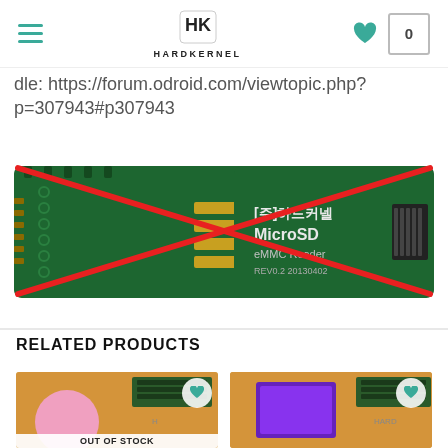HARDKERNEL
dle: https://forum.odroid.com/viewtopic.php?p=307943#p307943
[Figure (photo): eMMC MicroSD reader board (PCB, green) with a red X crossed over it, labeled '[주]하드커넬 MicroSD eMMC Reader REV0.2 20130402']
RELATED PRODUCTS
[Figure (photo): Product card showing an orange PCB board with a pink circular element, labeled OUT OF STOCK, with a heart wishlist icon]
[Figure (photo): Product card showing an orange PCB board with a purple/violet display screen, with a heart wishlist icon]